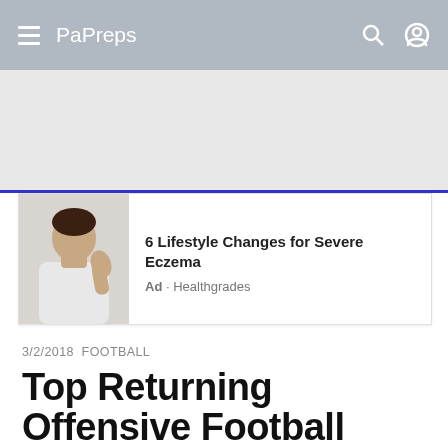PaPreps
[Figure (screenshot): Advertisement card with photo of woman applying skincare product. Title: 6 Lifestyle Changes for Severe Eczema. Source: Ad · Healthgrades]
3/2/2018  FOOTBALL
Top Returning Offensive Football Players - District 10